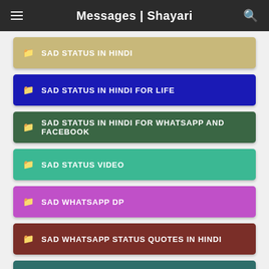Messages | Shayari
SAD STATUS IN HINDI
SAD STATUS IN HINDI FOR LIFE
SAD STATUS IN HINDI FOR WHATSAPP AND FACEBOOK
SAD STATUS VIDEO
SAD WHATSAPP DP
SAD WHATSAPP STATUS QUOTES IN HINDI
SCHOOL BOY